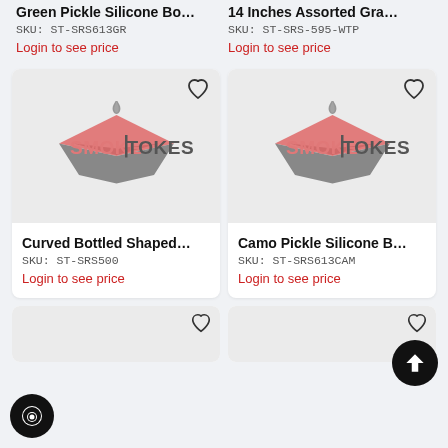Green Pickle Silicone Bo...
SKU: ST-SRS613GR
Login to see price
14 Inches Assorted Gra...
SKU: ST-SRS-595-WTP
Login to see price
[Figure (logo): SmokeTokes brand logo — pink/coral diamond shape with flame above and text SMOKETOKES]
Curved Bottled Shaped...
SKU: ST-SRS500
Login to see price
[Figure (logo): SmokeTokes brand logo — pink/coral diamond shape with flame above and text SMOKETOKES]
Camo Pickle Silicone B...
SKU: ST-SRS613CAM
Login to see price